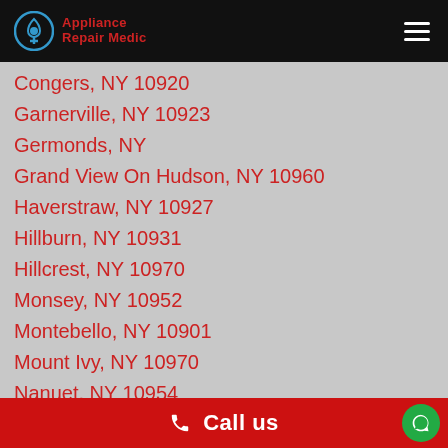Appliance Repair Medic
Congers, NY 10920
Garnerville, NY 10923
Germonds, NY
Grand View On Hudson, NY 10960
Haverstraw, NY 10927
Hillburn, NY 10931
Hillcrest, NY 10970
Monsey, NY 10952
Montebello, NY 10901
Mount Ivy, NY 10970
Nanuet, NY 10954
New City, NY 10956
New Hempsteadn NY 10977
Nyack, NY 10960
Orangeburg, NY 10962
Palisades, NY 10964
Pearl River, NY 10965
Call us